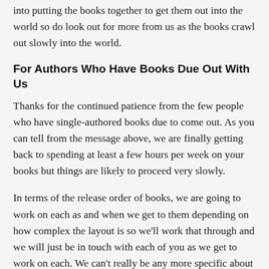into putting the books together to get them out into the world so do look out for more from us as the books crawl out slowly into the world.
For Authors Who Have Books Due Out With Us
Thanks for the continued patience from the few people who have single-authored books due to come out. As you can tell from the message above, we are finally getting back to spending at least a few hours per week on your books but things are likely to proceed very slowly.
In terms of the release order of books, we are going to work on each as and when we get to them depending on how complex the layout is so we'll work that through and we will just be in touch with each of you as we get to work on each. We can't really be any more specific about release dates than that though sadly and the more